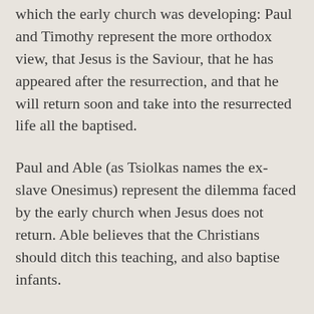which the early church was developing: Paul and Timothy represent the more orthodox view, that Jesus is the Saviour, that he has appeared after the resurrection, and that he will return soon and take into the resurrected life all the baptised.
Paul and Able (as Tsiolkas names the ex-slave Onesimus) represent the dilemma faced by the early church when Jesus does not return. Able believes that the Christians should ditch this teaching, and also baptise infants.
The third axis is Timothy and Thomas. This represents the view of some early Christians that Jesus was a great teacher and prophet who died, and before... (Tsiolkas references the...